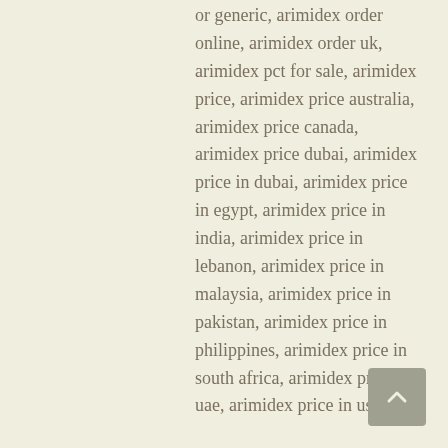or generic, arimidex order online, arimidex order uk, arimidex pct for sale, arimidex price, arimidex price australia, arimidex price canada, arimidex price dubai, arimidex price in dubai, arimidex price in egypt, arimidex price in india, arimidex price in lebanon, arimidex price in malaysia, arimidex price in pakistan, arimidex price in philippines, arimidex price in south africa, arimidex price in uae, arimidex price in usa,